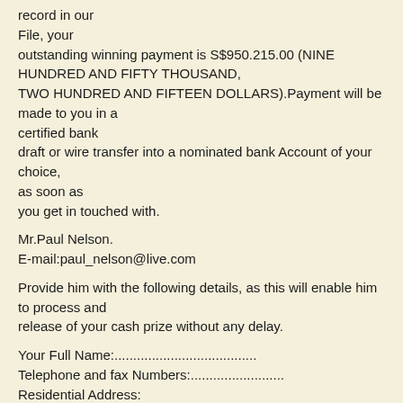record in our
File, your
outstanding winning payment is S$950.215.00 (NINE HUNDRED AND FIFTY THOUSAND,
TWO HUNDRED AND FIFTEEN DOLLARS).Payment will be made to you in a
certified bank
draft or wire transfer into a nominated bank Account of your choice,
as soon as
you get in touched with.
Mr.Paul Nelson.
E-mail:paul_nelson@live.com
Provide him with the following details, as this will enable him to process and
release of your cash prize without any delay.
Your Full Name:......................................
Telephone and fax Numbers:.........................
Residential Address: